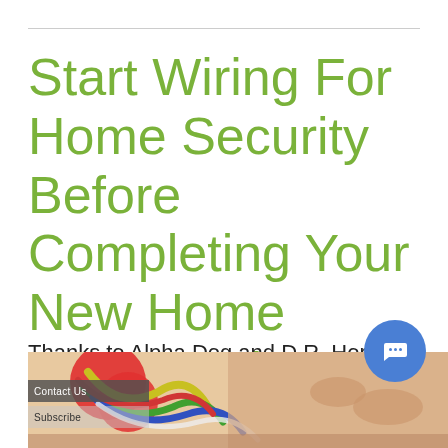Start Wiring For Home Security Before Completing Your New Home Construction
Thanks to Alpha Dog and D.R. Horton, a home security installation is efficient and safe
[Figure (photo): Close-up photo of colorful electrical wires and a hand, partially visible at the bottom of the page]